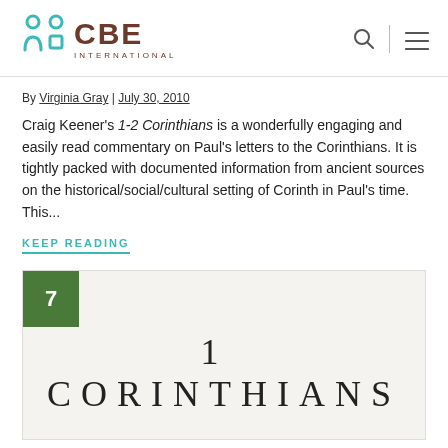CBE International
By Virginia Gray | July 30, 2010
Craig Keener's 1-2 Corinthians is a wonderfully engaging and easily read commentary on Paul's letters to the Corinthians. It is tightly packed with documented information from ancient sources on the historical/social/cultural setting of Corinth in Paul's time. This...
KEEP READING
[Figure (other): Card with number badge '7' in green square and title '1 CORINTHIANS' on light beige background]